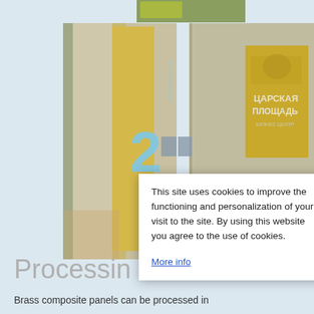[Figure (photo): Two photographs showing brass/gold composite panels used as decorative signage: left image shows a tall ornate patterned gold panel with a large numeral '2' and text 'ИНФОРМАЦИЯ'; right image shows a gold panel with Cyrillic text 'ЦАРСКАЯ ПЛОЩАДЬ' (Tsarskaya Ploshchad).]
Processin
[Figure (screenshot): Cookie consent popup dialog with close button (X), message text, and 'More info' link]
Brass composite panels can be processed in